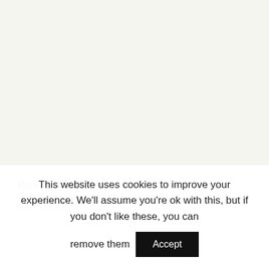Related posts:
TlAM5729 Powered BeagleBone-AI Comes with TI
This website uses cookies to improve your experience. We'll assume you're ok with this, but if you don't like these, you can remove them
Accept